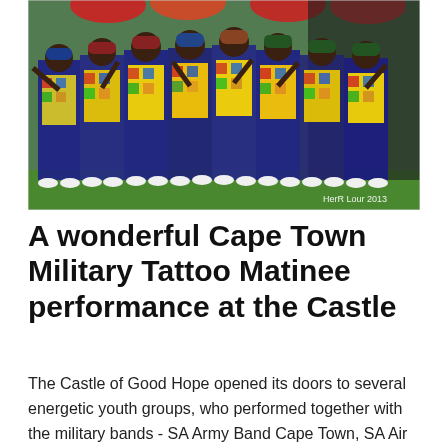[Figure (photo): Group of performers in colorful patchwork harlequin suits with yellow accents and colored hats, waving at a Cape Town Military Tattoo event. Watermark reads 'HerR Lour 2013'.]
A wonderful Cape Town Military Tattoo Matinee performance at the Castle
The Castle of Good Hope opened its doors to several energetic youth groups, who performed together with the military bands - SA Army Band Cape Town, SA Air Force Band, SA Navy Band and SAMHS Band - and two of the